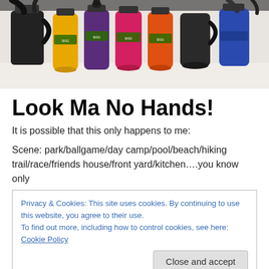[Figure (photo): A collection of colorful water bottles/sports bottles in yellow, purple, red, orange, and black, with black lids and straps, arranged on a white surface.]
Look Ma No Hands!
It is possible that this only happens to me:
Scene: park/ballgame/day camp/pool/beach/hiking trail/race/friends house/front yard/kitchen….you know only
Privacy & Cookies: This site uses cookies. By continuing to use this website, you agree to their use.
To find out more, including how to control cookies, see here: Cookie Policy
Close and accept
camel... she now has 4 humps.